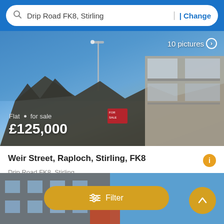Drip Road FK8, Stirling | Change
[Figure (photo): Exterior photo of a flat/apartment building with balconies and a street with lamp post under blue sky. Text overlay: 10 pictures >, Flat · for sale, £125,000]
Weir Street, Raploch, Stirling, FK8
Drip Road FK8, Stirling
2 Bedrooms  1 Bath
Freehold · Balcony · Gym · Double Bedroom · Kitchen · Modern · Pa
First seen over a month ago on OnTheMarket.com
View details
[Figure (photo): Partial view of a building exterior under blue sky at the bottom of the screen]
Filter